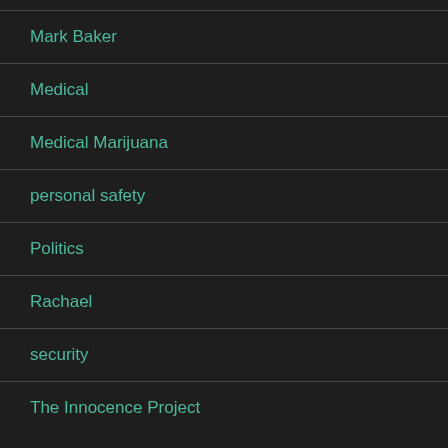Mark Baker
Medical
Medical Marijuana
personal safety
Politics
Rachael
security
The Innocence Project